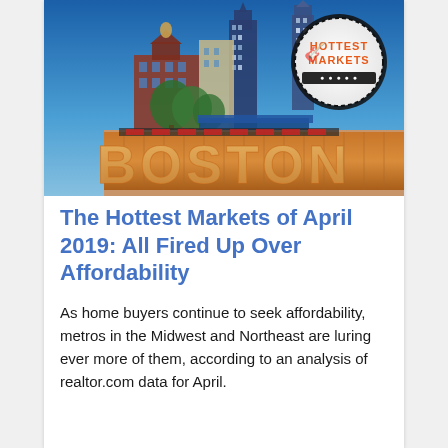[Figure (photo): Photograph of Boston cityscape at dusk/night showing Faneuil Hall area, city buildings, blue sky, trees, and a large illuminated BOSTON sign. A circular badge in the upper right reads 'Hottest Markets'.]
The Hottest Markets of April 2019: All Fired Up Over Affordability
As home buyers continue to seek affordability, metros in the Midwest and Northeast are luring ever more of them, according to an analysis of realtor.com data for April.